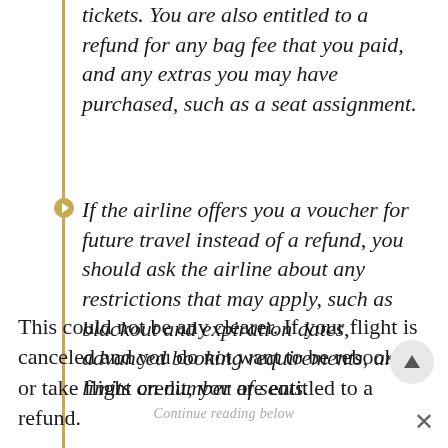tickets. You are also entitled to a refund for any bag fee that you paid, and any extras you may have purchased, such as a seat assignment.
If the airline offers you a voucher for future travel instead of a refund, you should ask the airline about any restrictions that may apply, such as blackout and expiration dates, advanced booking requirements, and limits on number of seats.
This could not be any clearer. If your flight is canceled and you do not want to be rebooked or take flight credit, you are entitled to a refund.
Continue reading below